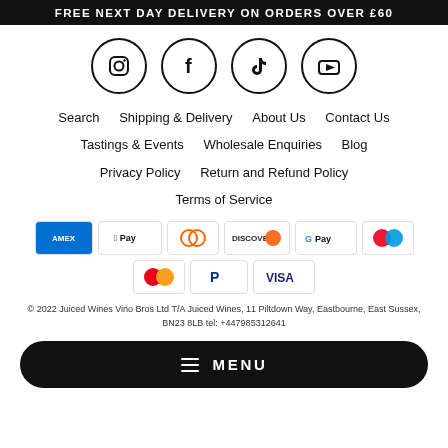FREE NEXT DAY DELIVERY ON ORDERS OVER £60
[Figure (illustration): Four social media icons in circles: Instagram, Facebook, TikTok, YouTube]
Search   Shipping & Delivery   About Us   Contact Us
Tastings & Events   Wholesale Enquiries   Blog
Privacy Policy   Return and Refund Policy
Terms of Service
[Figure (illustration): Payment method icons: Amex, Apple Pay, Diners Club, Discover, Google Pay, Maestro, Mastercard, PayPal, Visa]
© 2022 Juiced Wines Vino Bros Ltd T/A Juiced Wines, 11 Piltdown Way, Eastbourne, East Sussex, BN23 8LB tel: +447985312641
≡ MENU